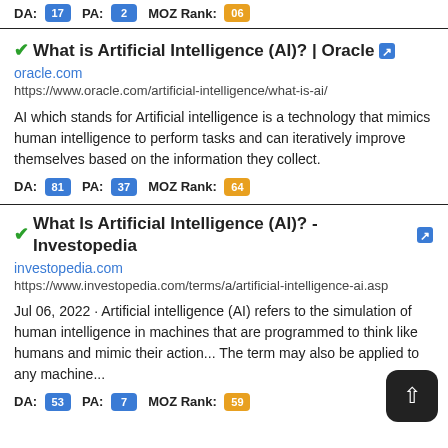DA: 17 PA: 2 MOZ Rank: 06
✔What is Artificial Intelligence (AI)? | Oracle 🔗
oracle.com
https://www.oracle.com/artificial-intelligence/what-is-ai/
AI which stands for Artificial intelligence is a technology that mimics human intelligence to perform tasks and can iteratively improve themselves based on the information they collect.
DA: 81 PA: 37 MOZ Rank: 64
✔What Is Artificial Intelligence (AI)? - Investopedia 🔗
investopedia.com
https://www.investopedia.com/terms/a/artificial-intelligence-ai.asp
Jul 06, 2022 · Artificial intelligence (AI) refers to the simulation of human intelligence in machines that are programmed to think like humans and mimic their action... The term may also be applied to any machine...
DA: 53 PA: 7 MOZ Rank: 59